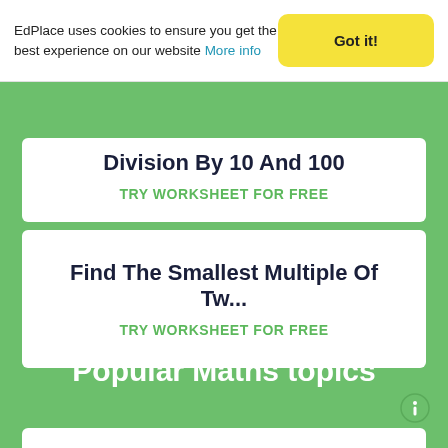EdPlace uses cookies to ensure you get the best experience on our website More info
Got it!
Division By 10 And 100
TRY WORKSHEET FOR FREE
Find The Smallest Multiple Of Tw...
TRY WORKSHEET FOR FREE
Popular Maths topics